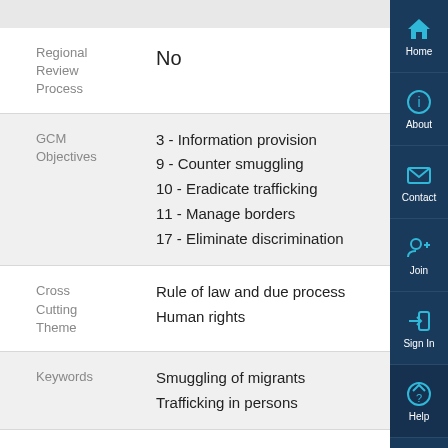| Field | Value |
| --- | --- |
| Regional Review Process | No |
| GCM Objectives | 3 - Information provision
9 - Counter smuggling
10 - Eradicate trafficking
11 - Manage borders
17 - Eliminate discrimination |
| Cross Cutting Theme | Rule of law and due process
Human rights |
| Keywords | Smuggling of migrants
Trafficking in persons |
| Status | Published |